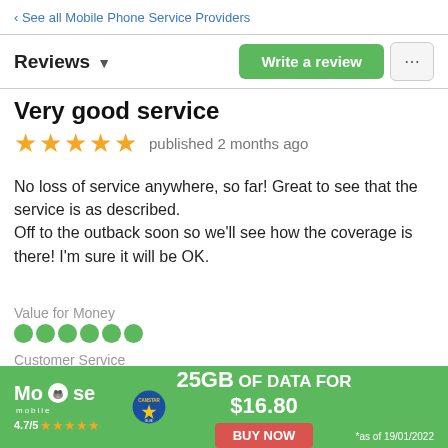< See all Mobile Phone Service Providers
Reviews ▾
Very good service
★★★★★ published 2 months ago
No loss of service anywhere, so far! Great to see that the service is as described.
Off to the outback soon so we'll see how the coverage is there! I'm sure it will be OK.
Value for Money
●●●●●●
Customer Service
●●●●●●
[Figure (infographic): Moose Mobile advertisement banner: 25GB OF DATA FOR $16.80, BUY NOW button, 4.7/5 star rating, Canstar badge, *as of 19/01/2022]